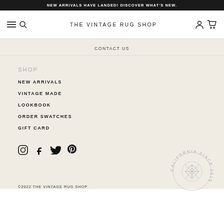NEW ARRIVALS HAVE LANDED! DISCOVER WHAT'S NEW.
THE VINTAGE RUG SHOP
CONTACT US
SHOP
NEW ARRIVALS
VINTAGE MADE
LOOKBOOK
ORDER SWATCHES
GIFT CARD
[Figure (logo): Social media icons: Instagram, Facebook, Twitter, Pinterest]
[Figure (logo): California Since 2015 circular stamp logo with geometric pattern]
©2022 THE VINTAGE RUG SHOP